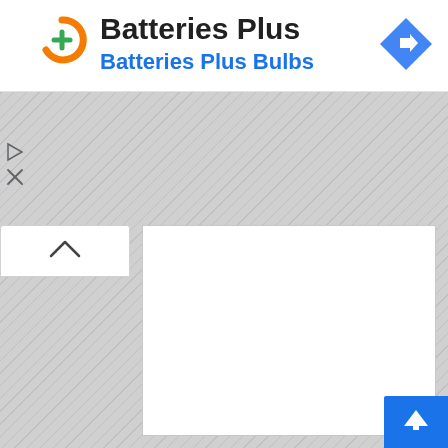[Figure (logo): Batteries Plus logo: orange circle with green plus sign]
Batteries Plus
Batteries Plus Bulbs
[Figure (other): Blue diamond navigation/direction icon with right-turn arrow]
[Figure (other): UI screenshot showing a map panel with white content area, striped grey background, collapse chevron button, and blue scroll-to-top button]